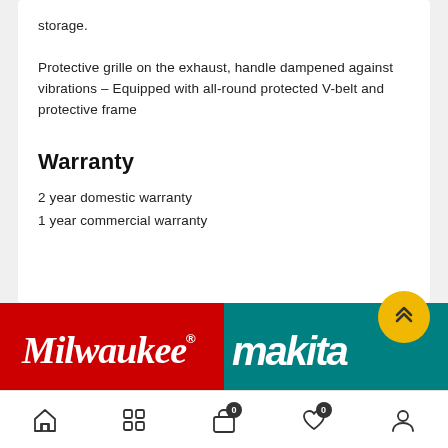storage. Protective grille on the exhaust, handle dampened against vibrations – Equipped with all-round protected V-belt and protective frame
Warranty
2 year domestic warranty
1 year commercial warranty
[Figure (logo): Milwaukee brand logo - white script text on red background]
[Figure (logo): Makita brand logo - white italic text on teal/dark cyan background]
[Figure (infographic): Scroll-to-top button: yellow circular button with double chevron up arrows]
Navigation bar with icons: home, grid/apps, shopping bag (badge: 0), heart/wishlist (badge: 0), user/account